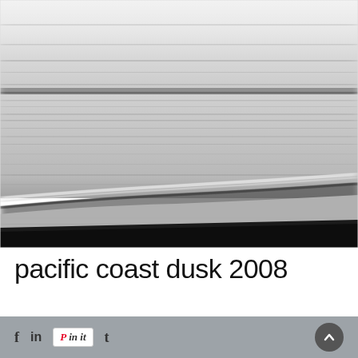[Figure (photo): Black and white long-exposure photograph of the Pacific coast at dusk, showing blurred ocean waves with horizontal motion blur, a diagonal shoreline, and a dark beach/foreground at the bottom.]
pacific coast dusk 2008
f  in  Pin it  t  [up arrow button]